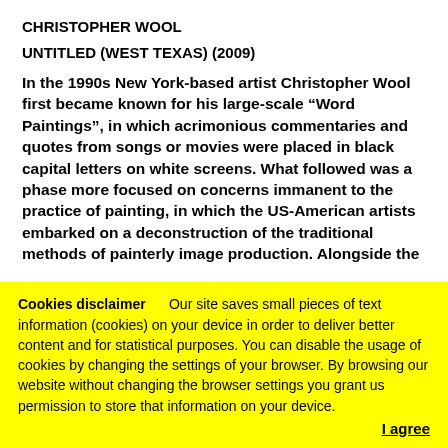CHRISTOPHER WOOL
UNTITLED (WEST TEXAS) (2009)
In the 1990s New York-based artist Christopher Wool first became known for his large-scale “Word Paintings”, in which acrimonious commentaries and quotes from songs or movies were placed in black capital letters on white screens. What followed was a phase more focused on concerns immanent to the practice of painting, in which the US-American artists embarked on a deconstruction of the traditional methods of painterly image production. Alongside the
Cookies disclaimer      Our site saves small pieces of text information (cookies) on your device in order to deliver better content and for statistical purposes. You can disable the usage of cookies by changing the settings of your browser. By browsing our website without changing the browser settings you grant us permission to store that information on your device.
I agree